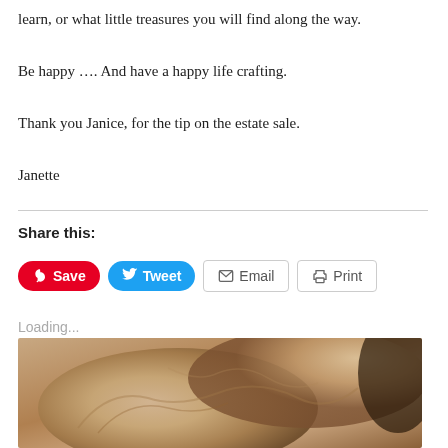learn, or what little treasures you will find along the way.
Be happy …. And have a happy life crafting.
Thank you Janice, for the tip on the estate sale.
Janette
Share this:
[Figure (screenshot): Share buttons: Save (Pinterest, red), Tweet (Twitter, blue), Email (grey outline), Print (grey outline)]
Loading...
[Figure (photo): Close-up photo of elderly hands, showing wrinkled skin and fingers]